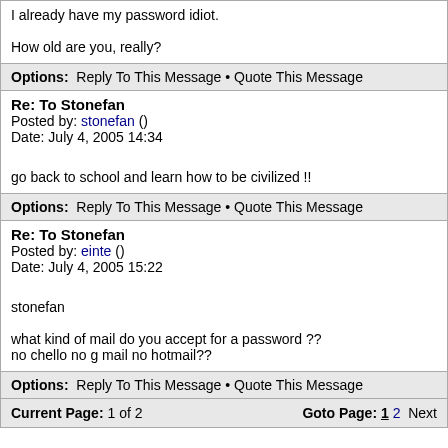I already have my password idiot.

How old are you, really?
Options: Reply To This Message • Quote This Message
Re: To Stonefan
Posted by: stonefan ()
Date: July 4, 2005 14:34
go back to school and learn how to be civilized !!
Options: Reply To This Message • Quote This Message
Re: To Stonefan
Posted by: einte ()
Date: July 4, 2005 15:22
stonefan

what kind of mail do you accept for a password ??
no chello no g mail no hotmail??
Options: Reply To This Message • Quote This Message
Current Page: 1 of 2    Goto Page: 1 2 Next